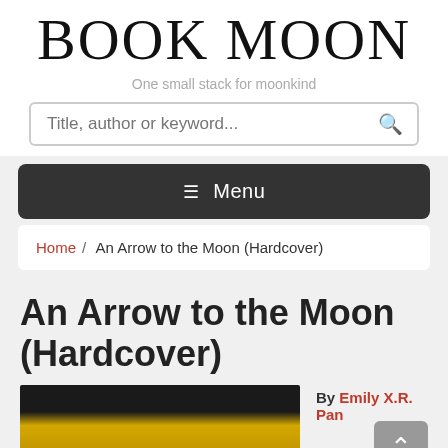BOOK MOON
One small stack for moonkind
Title, author or keyword...
≡ Menu
Home / An Arrow to the Moon (Hardcover)
An Arrow to the Moon (Hardcover)
By Emily X.R. Pan